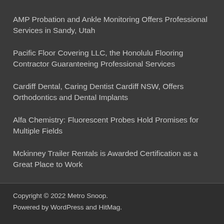AMP Probation and Ankle Monitoring Offers Professional Services in Sandy, Utah
Pacific Floor Covering LLC, the Honolulu Flooring Contractor Guaranteeing Professional Services
Cardiff Dental, Caring Dentist Cardiff NSW, Offers Orthodontics and Dental Implants
Alfa Chemistry: Fluorescent Probes Hold Promises for Multiple Fields
Mckinney Trailer Rentals is Awarded Certification as a Great Place to Work
Copyright © 2022 Metro Snoop.
Powered by WordPress and HitMag.